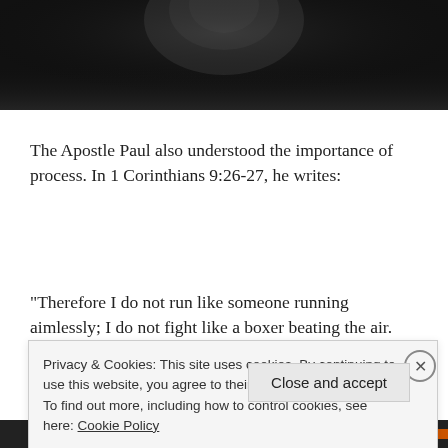[Figure (photo): Dark background photo showing a silhouetted figure, cropped at top of page]
The Apostle Paul also understood the importance of process. In 1 Corinthians 9:26-27, he writes:
“Therefore I do not run like someone running aimlessly; I do not fight like a boxer beating the air. No, I strike a
Privacy & Cookies: This site uses cookies. By continuing to use this website, you agree to their use.
To find out more, including how to control cookies, see here: Cookie Policy
Close and accept